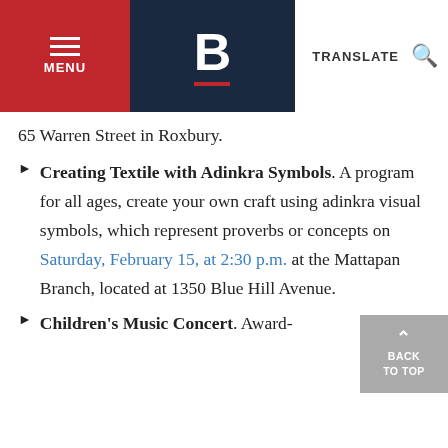MENU | B | TRANSLATE [search]
65 Warren Street in Roxbury.
Creating Textile with Adinkra Symbols. A program for all ages, create your own craft using adinkra visual symbols, which represent proverbs or concepts on Saturday, February 15, at 2:30 p.m. at the Mattapan Branch, located at 1350 Blue Hill Avenue.
Children's Music Concert. Award-